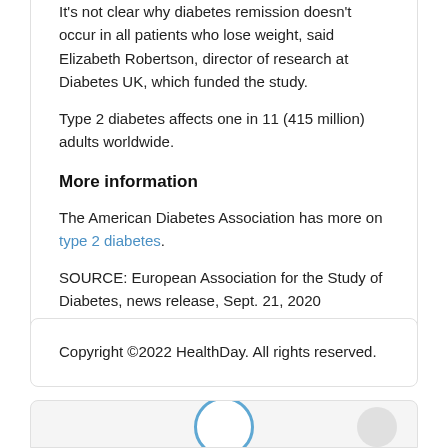It's not clear why diabetes remission doesn't occur in all patients who lose weight, said Elizabeth Robertson, director of research at Diabetes UK, which funded the study.
Type 2 diabetes affects one in 11 (415 million) adults worldwide.
More information
The American Diabetes Association has more on type 2 diabetes.
SOURCE: European Association for the Study of Diabetes, news release, Sept. 21, 2020
Copyright ©2022 HealthDay. All rights reserved.